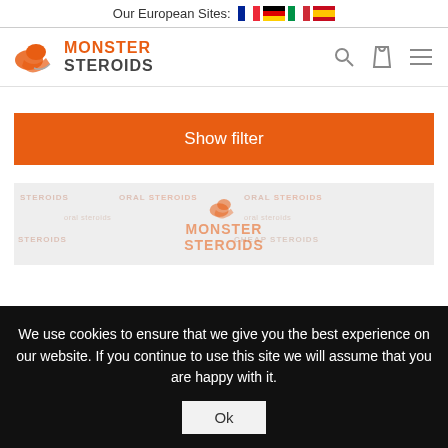Our European Sites:
[Figure (logo): Monster Steroids logo with orange muscle icon]
[Figure (infographic): Show filter orange button]
[Figure (screenshot): Product listing area with Monster Steroids watermark logo]
We use cookies to ensure that we give you the best experience on our website. If you continue to use this site we will assume that you are happy with it.